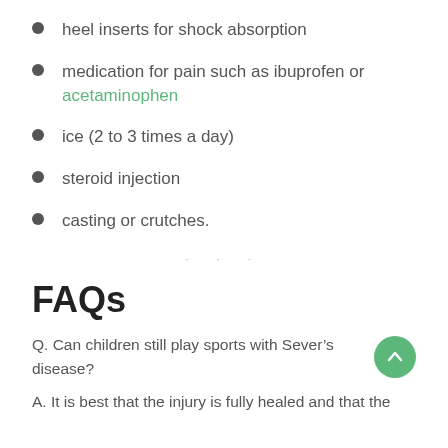heel inserts for shock absorption
medication for pain such as ibuprofen or acetaminophen
ice (2 to 3 times a day)
steroid injection
casting or crutches.
FAQs
Q. Can children still play sports with Sever’s disease?
A. It is best that the injury is fully healed and that the